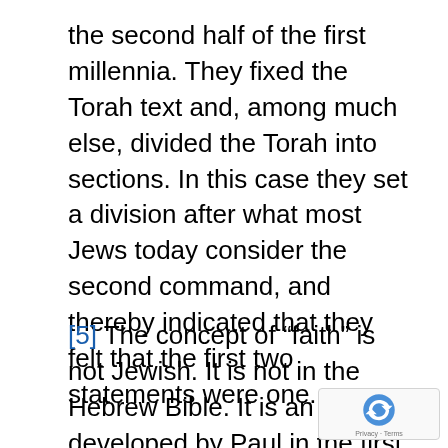the second half of the first millennia. They fixed the Torah text and, among much else, divided the Torah into sections. In this case they set a division after what most Jews today consider the second command, and thereby indicated that they felt that the first two statements were one.
[5] The concept of “faith” is not Jewish. It is not in the Hebrew Bible. It is an idea developed by Paul in the first century CE. He wanted to convert pagans to Judaism (for early Christianity was a form of Judaism, with a belief that Jesus was the messiah). The pagans were reluctant to Jews because the men did not want to unde[rstood]